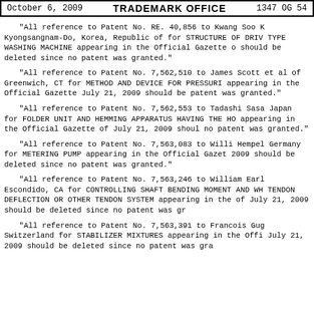October 6, 2009    TRADEMARK OFFICE    1347 OG 54
"All reference to Patent No. RE. 40,856 to Kwang Soo K Kyongsangnam-Do, Korea, Republic of for STRUCTURE OF DRIV TYPE WASHING MACHINE appearing in the Official Gazette o should be deleted since no patent was granted."
"All reference to Patent No. 7,562,510 to James Scott et al of Greenwich, CT for METHOD AND DEVICE FOR PRESSURI appearing in the Official Gazette July 21, 2009 should be patent was granted."
"All reference to Patent No. 7,562,553 to Tadashi Sasa Japan for FOLDER UNIT AND HEMMING APPARATUS HAVING THE HO appearing in the Official Gazette of July 21, 2009 shoul no patent was granted."
"All reference to Patent No. 7,563,083 to Willi Hempel Germany for METERING PUMP appearing in the Official Gazet 2009 should be deleted since no patent was granted."
"All reference to Patent No. 7,563,246 to William Earl Escondido, CA for CONTROLLING SHAFT BENDING MOMENT AND WH TENDON DEFLECTION OR OTHER TENDON SYSTEM appearing in the of July 21, 2009 should be deleted since no patent was gr
"All reference to Patent No. 7,563,391 to Francois Gug Switzerland for STABILIZER MIXTURES appearing in the Offi July 21, 2009 should be deleted since no patent was gra